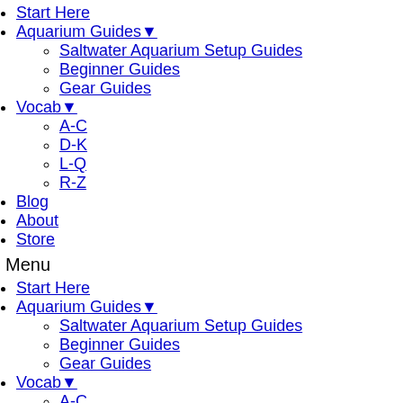Start Here
Aquarium Guides▾
Saltwater Aquarium Setup Guides
Beginner Guides
Gear Guides
Vocab▾
A-C
D-K
L-Q
R-Z
Blog
About
Store
Menu
Start Here
Aquarium Guides▾
Saltwater Aquarium Setup Guides
Beginner Guides
Gear Guides
Vocab▾
A-C
D-K